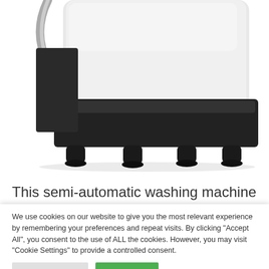[Figure (photo): Bottom portion of a white and black semi-automatic washing machine showing the base with four black rubber feet against a white background]
This semi-automatic washing machine is a
We use cookies on our website to give you the most relevant experience by remembering your preferences and repeat visits. By clicking "Accept All", you consent to the use of ALL the cookies. However, you may visit "Cookie Settings" to provide a controlled consent.